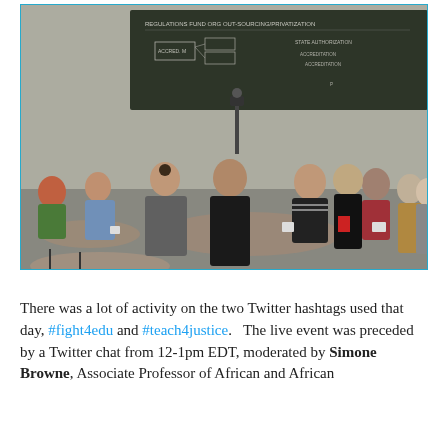[Figure (photo): A classroom or seminar room scene with multiple people seated around round tables. A chalkboard with writing is visible in the background. People appear to be engaged in a discussion or workshop setting.]
There was a lot of activity on the two Twitter hashtags used that day, #fight4edu and #teach4justice.   The live event was preceded by a Twitter chat from 12-1pm EDT, moderated by Simone Browne, Associate Professor of African and African